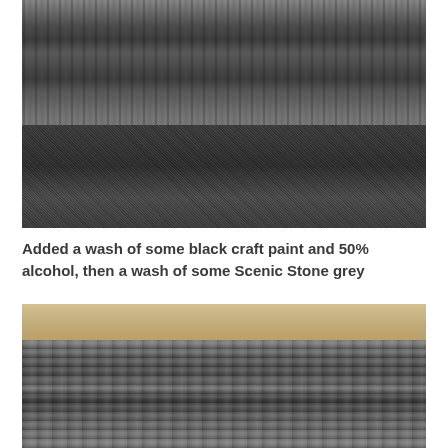[Figure (photo): Close-up photograph of textured rock/stone model terrain, showing layered rocky formation on top and coarse gravelly texture on the bottom, in dark grey tones.]
Added a wash of some black craft paint and 50% alcohol, then a wash of some Scenic Stone grey
[Figure (photo): Close-up photograph of painted rock/stone model terrain after wash treatment, showing layered rocky formations with grey and dark tones over a sandy/tan base layer.]